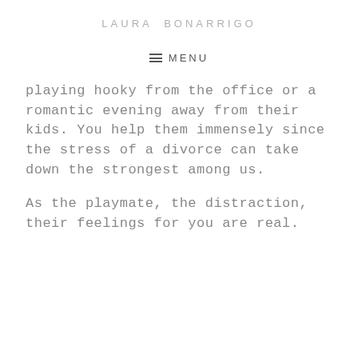LAURA BONARRIGO
≡  MENU
playing hooky from the office or a romantic evening away from their kids. You help them immensely since the stress of a divorce can take down the strongest among us.
As the playmate, the distraction, their feelings for you are real.